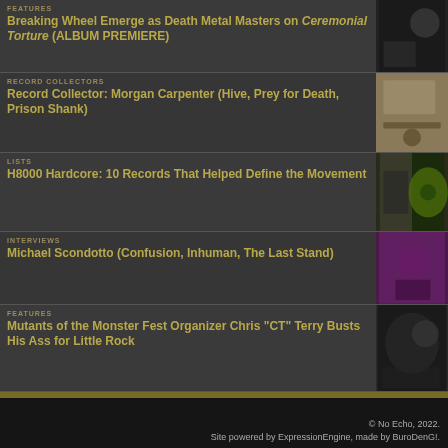FEATURES
Breaking Wheel Emerge as Death Metal Masters on Ceremonial Torture (ALBUM PREMIERE)
RECORD COLLECTORS
Record Collector: Morgan Carpenter (Hive, Prey for Death, Prison Shank)
LISTS
H8000 Hardcore: 10 Records That Helped Define the Movement
INTERVIEWS
Michael Scondotto (Confusion, Inhuman, The Last Stand)
FEATURES
Mutants of the Monster Fest Organizer Chris "CT" Terry Busts His Ass for Little Rock
© No Echo, 2022.
Site powered by ExpressionEngine, made by BuroDenG!.